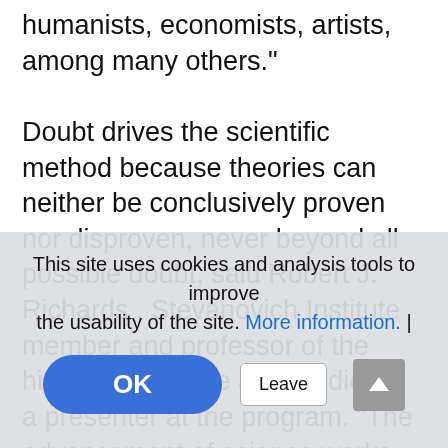humanists, economists, artists, among many others." Doubt drives the scientific method because theories can neither be conclusively proven nor disproven, never beyond all possible doubt, said Robert J. Richards , Stevanovich Institute member and professor of the history of science and medicine, a presenter at the program. "The advancement of science works by conjecture and efforts at refutation of those conjectures... so most of the science of yesterday is probably [faded text continues behind overlay] of science. [faded] Shadi Bartsch-Zimmer, another presenter, SI... director and professor of classics and...
This site uses cookies and analysis tools to improve the usability of the site. More information. |